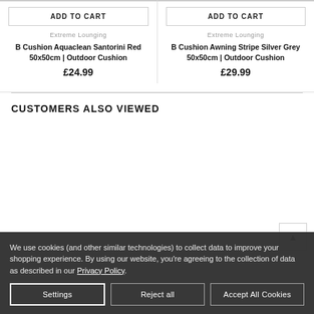ADD TO CART
ADD TO CART
Extreme Lounging
B Cushion Aquaclean Santorini Red 50x50cm | Outdoor Cushion
£24.99
Extreme Lounging
B Cushion Awning Stripe Silver Grey 50x50cm | Outdoor Cushion
£29.99
CUSTOMERS ALSO VIEWED
We use cookies (and other similar technologies) to collect data to improve your shopping experience. By using our website, you're agreeing to the collection of data as described in our Privacy Policy.
Settings
Reject all
Accept All Cookies